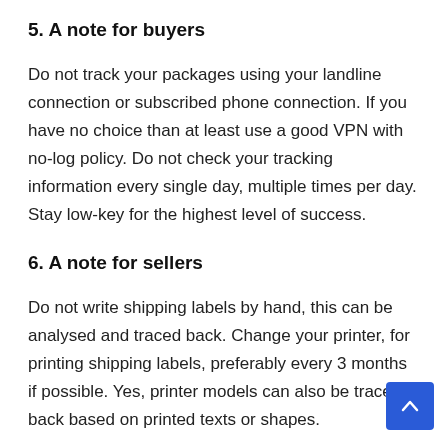5. A note for buyers
Do not track your packages using your landline connection or subscribed phone connection. If you have no choice than at least use a good VPN with no-log policy. Do not check your tracking information every single day, multiple times per day. Stay low-key for the highest level of success.
6. A note for sellers
Do not write shipping labels by hand, this can be analysed and traced back. Change your printer, for printing shipping labels, preferably every 3 months if possible. Yes, printer models can also be traced back based on printed texts or shapes.